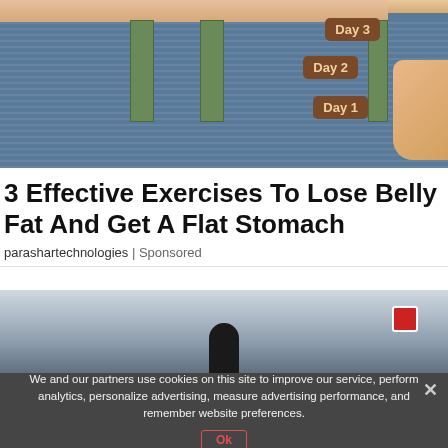[Figure (photo): Person pulling open jeans waistband showing three 'Day 1', 'Day 2', 'Day 3' labelled brown leather belt loops, belly visible above]
3 Effective Exercises To Lose Belly Fat And Get A Flat Stomach
parashartechnologies | Sponsored
[Figure (photo): Person standing on a street near a no-entry road sign]
We and our partners use cookies on this site to improve our service, perform analytics, personalize advertising, measure advertising performance, and remember website preferences.
Ok